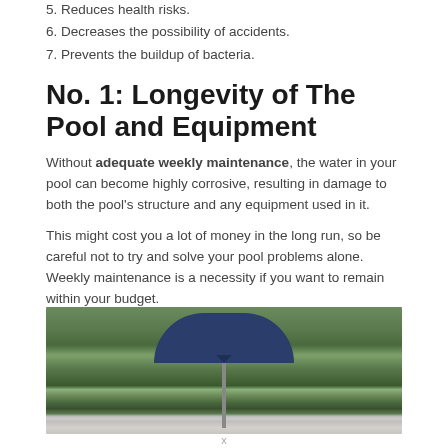5. Reduces health risks.
6. Decreases the possibility of accidents.
7. Prevents the buildup of bacteria.
No. 1: Longevity of The Pool and Equipment
Without adequate weekly maintenance, the water in your pool can become highly corrosive, resulting in damage to both the pool's structure and any equipment used in it.
This might cost you a lot of money in the long run, so be careful not to try and solve your pool problems alone. Weekly maintenance is a necessity if you want to remain within your budget.
[Figure (photo): Outdoor scene with trees and a large blue patio umbrella in the background, with a building visible behind.]
x